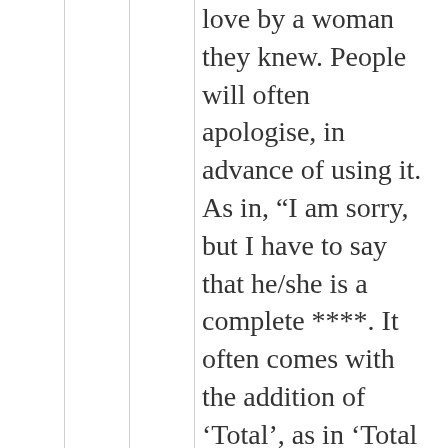love by a woman they knew. People will often apologise, in advance of using it. As in, “I am sorry, but I have to say that he/she is a complete ****. It often comes with the addition of ‘Total’, as in ‘Total ****’. I have no idea why. 🙂 The linked article that won’t open traces the word back to Hindu mythology, (Kunti) its use in